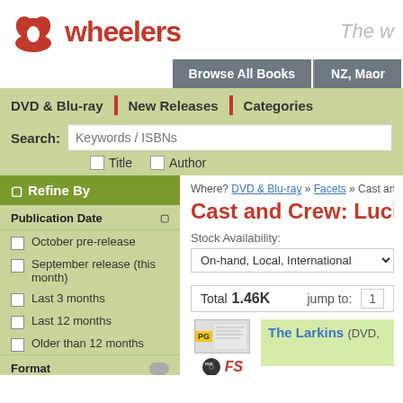[Figure (logo): Wheelers logo — red stylized flower/book icon with 'wheelers' text in red]
The w
Browse All Books   NZ, Maor
DVD & Blu-ray | New Releases | Categories
Search: Keywords / ISBNs  □ Title  □ Author
Where?  DVD & Blu-ray » Facets » Cast and Cr
Cast and Crew: Lucian
Stock Availability:
On-hand, Local, International
Total 1.46K    jump to: 1
▢ Refine By
Publication Date
October pre-release
September release (this month)
Last 3 months
Last 12 months
Older than 12 months
Format
The Larkins (DVD,